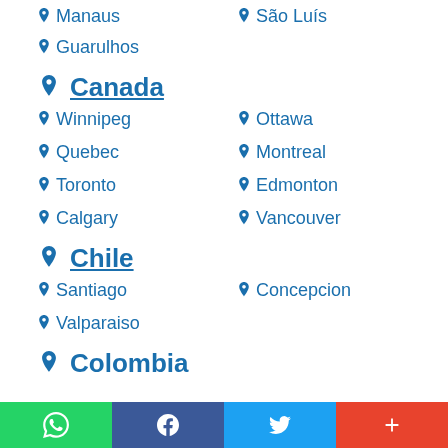Manaus
São Luís
Guarulhos
Canada
Winnipeg
Ottawa
Quebec
Montreal
Toronto
Edmonton
Calgary
Vancouver
Chile
Santiago
Concepcion
Valparaiso
Colombia